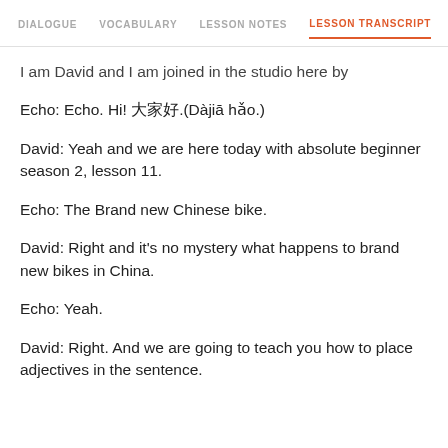DIALOGUE   VOCABULARY   LESSON NOTES   LESSON TRANSCRIPT   C
I am David and I am joined in the studio here by
Echo: Echo. Hi! 大家好.(Dàjiā hǎo.)
David: Yeah and we are here today with absolute beginner season 2, lesson 11.
Echo: The Brand new Chinese bike.
David: Right and it's no mystery what happens to brand new bikes in China.
Echo: Yeah.
David: Right. And we are going to teach you how to place adjectives in the sentence.